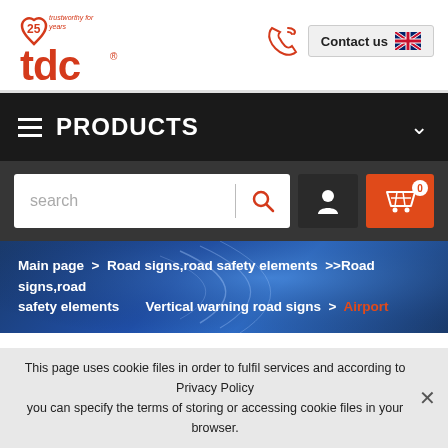[Figure (logo): TDC logo with 25 years trustworthy badge in red/orange]
Contact us
PRODUCTS
search
Main page > Road signs,road safety elements >>Road signs,road safety elements Vertical warning road signs > Airport
CATEGORIES
This page uses cookie files in order to fulfil services and according to Privacy Policy you can specify the terms of storing or accessing cookie files in your browser.